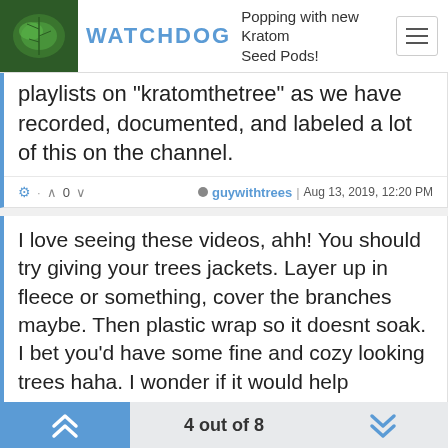WATCHDOG — Popping with new Kratom Seed Pods!
playlists on "kratomthetree" as we have recorded, documented, and labeled a lot of this on the channel.
⚙ · ∧ 0 ∨   ● guywithtrees | Aug 13, 2019, 12:20 PM
I love seeing these videos, ahh! You should try giving your trees jackets. Layer up in fleece or something, cover the branches maybe. Then plastic wrap so it doesnt soak. I bet you'd have some fine and cozy looking trees haha. I wonder if it would help anything.
● SubstanceTheSqid | Aug 13, 2019, 12:24 PM , last edited by SubstanceTheSqid Aug 13, 2019, 12:25 PM
4 out of 8